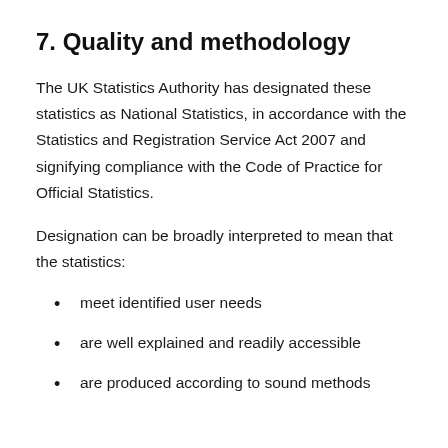7.  Quality and methodology
The UK Statistics Authority has designated these statistics as National Statistics, in accordance with the Statistics and Registration Service Act 2007 and signifying compliance with the Code of Practice for Official Statistics.
Designation can be broadly interpreted to mean that the statistics:
meet identified user needs
are well explained and readily accessible
are produced according to sound methods